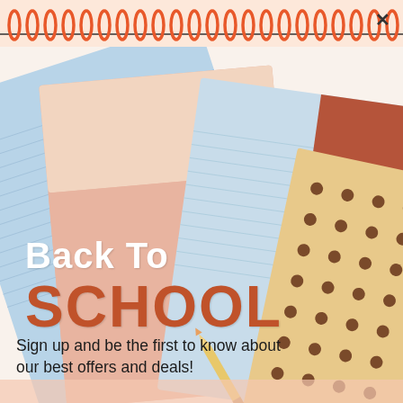[Figure (illustration): Back to school promotional popup with spiral notebook top, colorful overlapping notebooks (light blue, pink/salmon, tan with polka dots, rust/brown), and pencil visible at bottom. Decorative spiral binding at top in orange/red.]
Back To SCHOOL
Sign up and be the first to know about our best offers and deals!